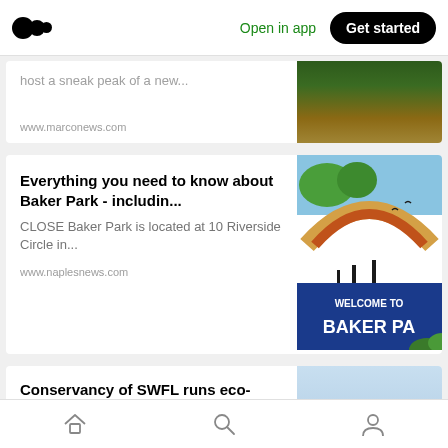[Figure (screenshot): Medium app navigation bar with logo, 'Open in app' link, and 'Get started' button]
host a sneak peak of a new...
www.marconews.com
Everything you need to know about Baker Park - includin...
CLOSE Baker Park is located at 10 Riverside Circle in...
www.naplesnews.com
Conservancy of SWFL runs eco-cruises out of Rookery...